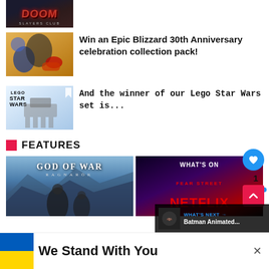[Figure (screenshot): Doom game cover image, dark themed with red Doom logo]
[Figure (photo): Blizzard 30th Anniversary celebration collection items on orange/gold background]
Win an Epic Blizzard 30th Anniversary celebration collection pack!
[Figure (photo): LEGO Star Wars AT-AT Walker set box on light blue background]
And the winner of our Lego Star Wars set is...
FEATURES
[Figure (photo): God of War Ragnarok game key art showing Kratos and Atreus]
[Figure (screenshot): What's on Netflix promotional image with Fear Street text and Netflix logo]
WHAT'S NEXT → Batman Animated...
We Stand With You